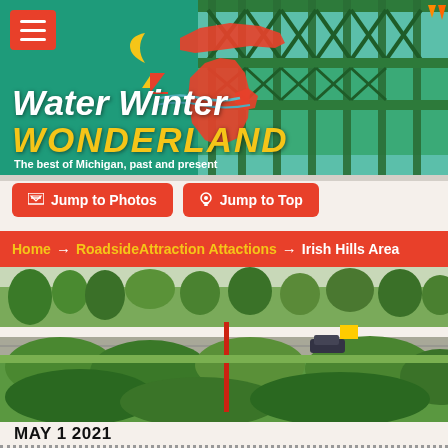[Figure (screenshot): Water Winter Wonderland website header banner with green teal background, Michigan state outline in red/orange, crescent moon and sailboat logo, and green steel bridge photo on right side]
[Figure (illustration): Red hamburger menu button top left of header]
Water Winter Wonderland
The best of Michigan, past and present
Jump to Photos   Jump to Top
Home → RoadsideAttraction Attactions → Irish Hills Area
[Figure (photo): Outdoor roadside scene in spring, showing green bushes and shrubs in foreground, trees with new leaves, a road with a car, a red pole, and yellow sign in background]
MAY 1 2021